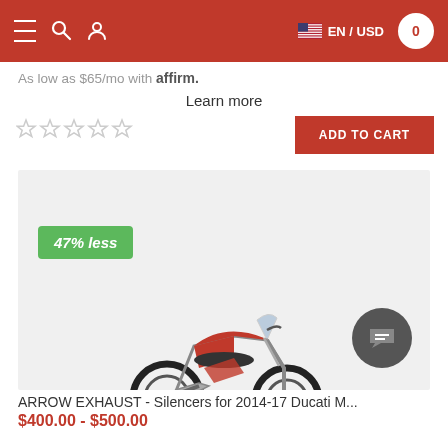Navigation bar with menu, search, user icons, EN/USD language selector, and cart (0)
As low as $65/mo with affirm.
Learn more
★★★★★ (empty stars rating)
ADD TO CART
[Figure (photo): Red Ducati Multistrada motorcycle on white background with '47% less' green badge overlay]
ARROW EXHAUST - Silencers for 2014-17 Ducati M...
$400.00 - $500.00